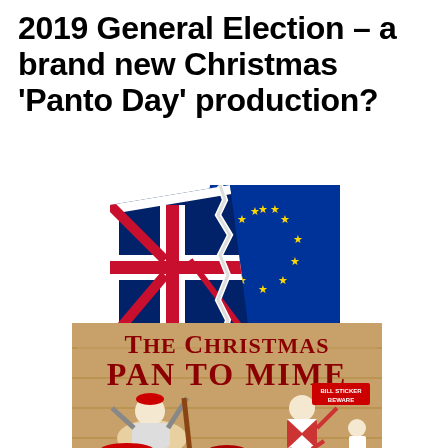2019 General Election – a brand new Christmas 'Panto Day' production?
[Figure (illustration): UK Union Jack flag and EU blue flag with yellow stars overlapping and tearing apart from each other]
[Figure (illustration): Vintage poster for 'The Christmas Pantomime' showing clown and harlequin characters in a slapstick scene with 'BILL STICKER BEWARE' sign]